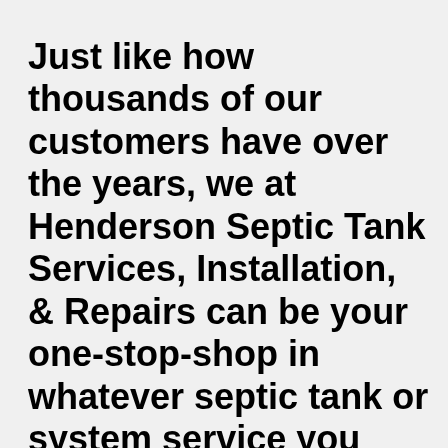Just like how thousands of our customers have over the years, we at Henderson Septic Tank Services, Installation, & Repairs can be your one-stop-shop in whatever septic tank or system service you require. With a success-driven company just like us, you won't have to worry about